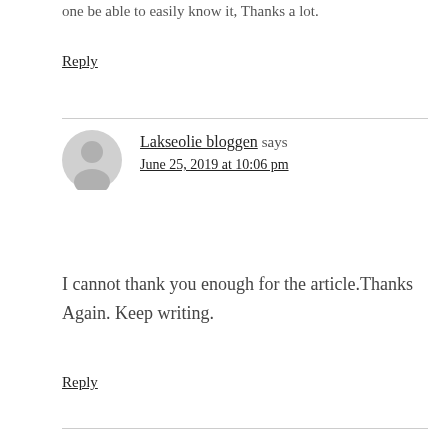one be able to easily know it, Thanks a lot.
Reply
Lakseolie bloggen says
June 25, 2019 at 10:06 pm
I cannot thank you enough for the article.Thanks Again. Keep writing.
Reply